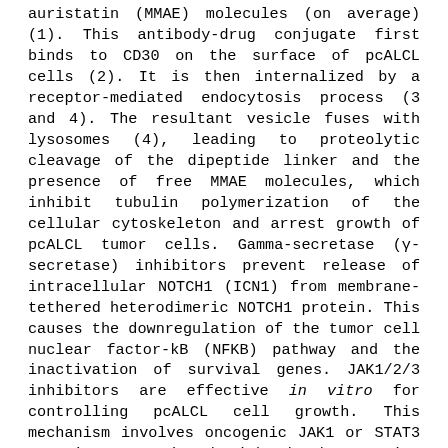auristatin (MMAE) molecules (on average) (1). This antibody-drug conjugate first binds to CD30 on the surface of pcALCL cells (2). It is then internalized by a receptor-mediated endocytosis process (3 and 4). The resultant vesicle fuses with lysosomes (4), leading to proteolytic cleavage of the dipeptide linker and the presence of free MMAE molecules, which inhibit tubulin polymerization of the cellular cytoskeleton and arrest growth of pcALCL tumor cells. Gamma-secretase (γ-secretase) inhibitors prevent release of intracellular NOTCH1 (ICN1) from membrane-tethered heterodimeric NOTCH1 protein. This causes the downregulation of the tumor cell nuclear factor-kB (NFKB) pathway and the inactivation of survival genes. JAK1/2/3 inhibitors are effective in vitro for controlling pcALCL cell growth. This mechanism involves oncogenic JAK1 or STAT3 mutations associated with the hyperactive pSTAT3 shown in pcALCL with an NPM1-TYK2 gene fusion and oncogenic STAT3